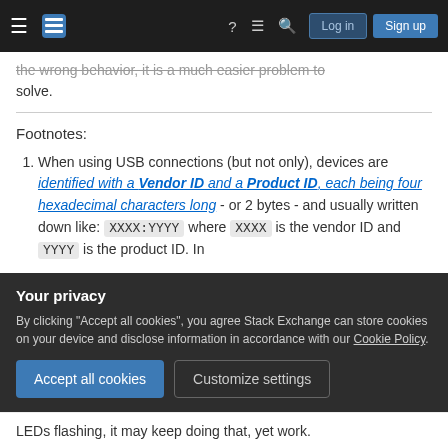Stack Exchange navigation bar with Log in and Sign up buttons
the wrong behavior, it is a much easier problem to solve.
Footnotes:
When using USB connections (but not only), devices are identified with a Vendor ID and a Product ID, each being four hexadecimal characters long - or 2 bytes - and usually written down like: XXXX:YYYY where XXXX is the vendor ID and YYYY is the product ID. In
Your privacy
By clicking "Accept all cookies", you agree Stack Exchange can store cookies on your device and disclose information in accordance with our Cookie Policy.
Accept all cookies   Customize settings
LEDs flashing, it may keep doing that, yet work.